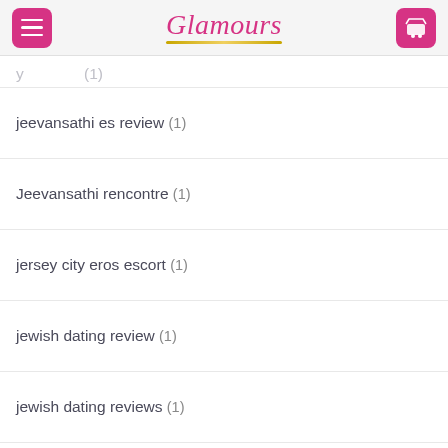Glamours
jeevansathi es review (1)
Jeevansathi rencontre (1)
jersey city eros escort (1)
jewish dating review (1)
jewish dating reviews (1)
Jewish dating site free (1)
joliet review (1)
Joon browse around tids web-site (1)
joyclubpartnersuche.de dating (1)